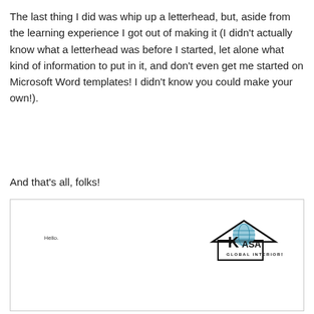The last thing I did was whip up a letterhead, but, aside from the learning experience I got out of making it (I didn't actually know what a letterhead was before I started, let alone what kind of information to put in it, and don't even get me started on Microsoft Word templates! I didn't know you could make your own!).
And that's all, folks!
[Figure (screenshot): A letterhead document screenshot showing 'Hello.' text on the left and the KASA Global Interiors logo (house icon with globe and text) on the upper right.]